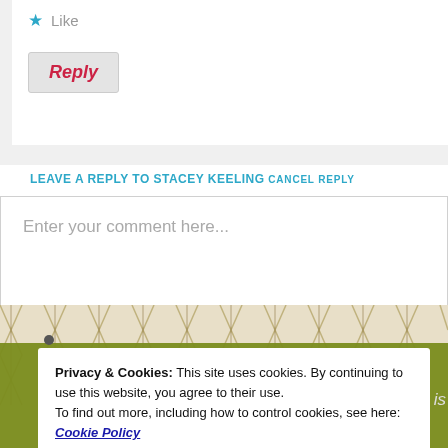★ Like
Reply
LEAVE A REPLY TO STACEY KEELING CANCEL REPLY
Enter your comment here...
Privacy & Cookies: This site uses cookies. By continuing to use this website, you agree to their use.
To find out more, including how to control cookies, see here: Cookie Policy
Close and accept
Powered by WordPress.com